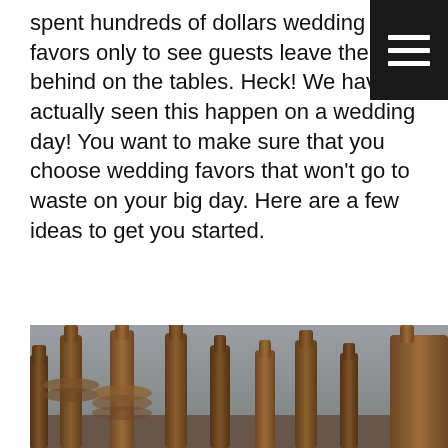spent hundreds of dollars wedding favors only to see guests leave them behind on the tables. Heck! We have actually seen this happen on a wedding day! You want to make sure that you choose wedding favors that won't go to waste on your big day. Here are a few ideas to get you started.
[Figure (photo): Close-up photograph of multiple wooden pepper mills or salt grinders arranged in a row, with a blurred grey background. The wooden objects are cylindrical with knob tops, in warm brown tones.]